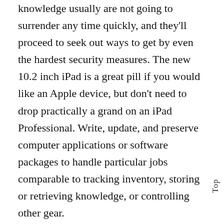knowledge usually are not going to surrender any time quickly, and they'll proceed to seek out ways to get by even the hardest security measures. The new 10.2 inch iPad is a great pill if you would like an Apple device, but don't need to drop practically a grand on an iPad Professional. Write, update, and preserve computer applications or software packages to handle particular jobs comparable to tracking inventory, storing or retrieving knowledge, or controlling other gear.
Funding news, acquisitions, new function launches, mergers, and breakthrough technology. TechCrunch